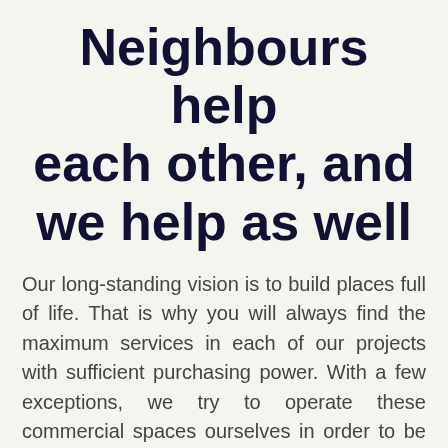Neighbours help each other, and we help as well
Our long-standing vision is to build places full of life. That is why you will always find the maximum services in each of our projects with sufficient purchasing power. With a few exceptions, we try to operate these commercial spaces ourselves in order to be able to influence the quality and diversity of services in a given location. We put a lot of time into having a restaurant, café, convenience store, shop, or even an ice cream parlour near your home.